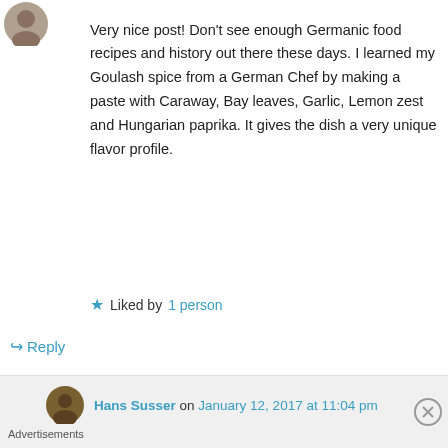[Figure (photo): User avatar photo - person]
Very nice post! Don't see enough Germanic food recipes and history out there these days. I learned my Goulash spice from a German Chef by making a paste with Caraway, Bay leaves, Garlic, Lemon zest and Hungarian paprika. It gives the dish a very unique flavor profile.
★ Liked by 1 person
↪ Reply
[Figure (photo): User avatar photo - Hans Susser]
Hans Susser on January 12, 2017 at 11:04 pm
Advertisements